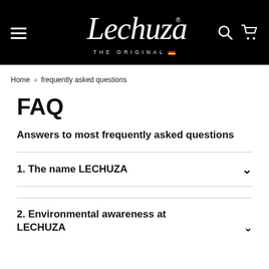[Figure (logo): Lechuza brand logo with script text and 'THE ORIGINAL' tagline on black background header with hamburger menu, search and cart icons]
Home > frequently asked questions
FAQ
Answers to most frequently asked questions
1. The name LECHUZA
2. Environmental awareness at LECHUZA